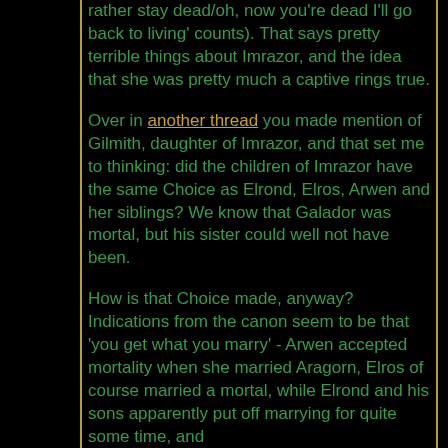rather stay dead/oh, now you're dead I'll go back to living' counts). That says pretty terrible things about Imrazor, and the idea that she was pretty much a captive rings true.
Over in another thread you made mention of Gilmith, daughter of Imrazor, and that set me to thinking: did the children of Imrazor have the same Choice as Elrond, Elros, Arwen and her siblings? We know that Galador was mortal, but his sister could well not have been.
How is that Choice made, anyway? Indications from the canon seem to be that 'you get what you marry' - Arwen accepted mortality when she married Aragorn, Elros of course married a mortal, while Elrond and his sons apparently put off marrying for quite some time, and